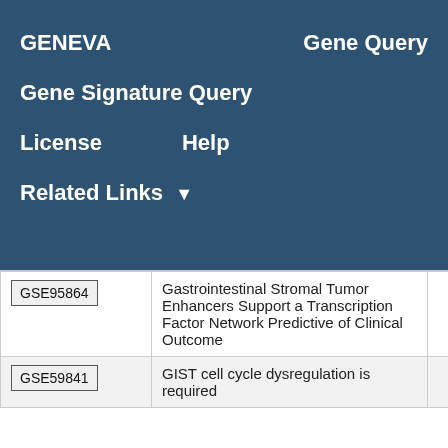GENEVA   Gene Query
Gene Signature Query
License   Help
Related Links ▼
| GSE ID | Title | Score |
| --- | --- | --- |
| GSE95864 | Gastrointestinal Stromal Tumor Enhancers Support a Transcription Factor Network Predictive of Clinical Outcome | 4.91 |
| GSE59841 | GIST cell cycle dysregulation is required … | 3.96 |